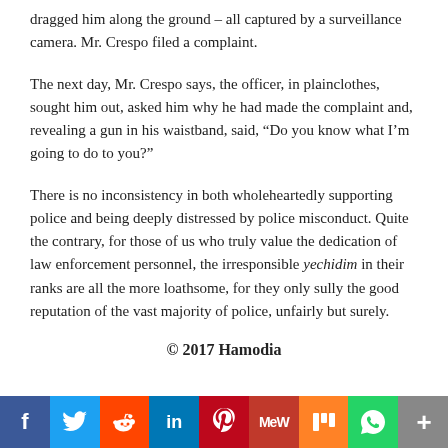dragged him along the ground – all captured by a surveillance camera. Mr. Crespo filed a complaint.
The next day, Mr. Crespo says, the officer, in plainclothes, sought him out, asked him why he had made the complaint and, revealing a gun in his waistband, said, “Do you know what I’m going to do to you?”
There is no inconsistency in both wholeheartedly supporting police and being deeply distressed by police misconduct. Quite the contrary, for those of us who truly value the dedication of law enforcement personnel, the irresponsible yechidim in their ranks are all the more loathsome, for they only sully the good reputation of the vast majority of police, unfairly but surely.
© 2017 Hamodia
[Figure (other): Social media sharing bar with buttons: Facebook, Twitter, Reddit, LinkedIn, Pinterest, MeWe, Mix, WhatsApp, More]